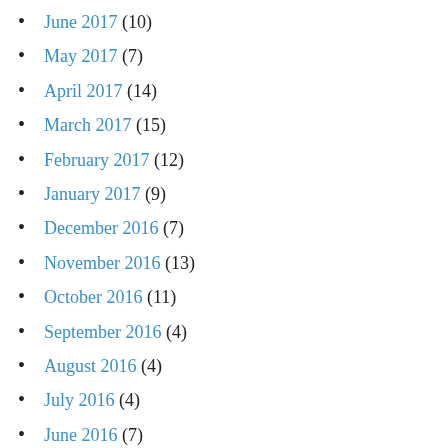June 2017 (10)
May 2017 (7)
April 2017 (14)
March 2017 (15)
February 2017 (12)
January 2017 (9)
December 2016 (7)
November 2016 (13)
October 2016 (11)
September 2016 (4)
August 2016 (4)
July 2016 (4)
June 2016 (7)
May 2016 (9)
April 2016 (7)
March 2016 (6)